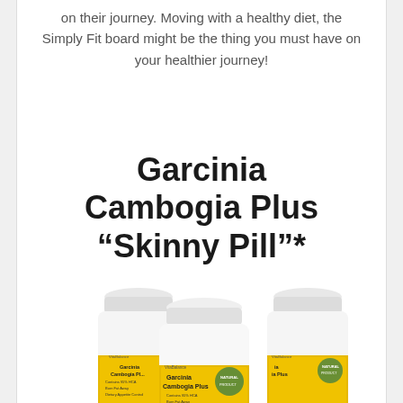on their journey. Moving with a healthy diet, the Simply Fit board might be the thing you must have on your healthier journey!
Garcinia Cambogia Plus “Skinny Pill”*
[Figure (photo): Three bottles of VitaBalance Garcinia Cambogia Plus supplement, with yellow and white labels, partially visible at the bottom of the page.]